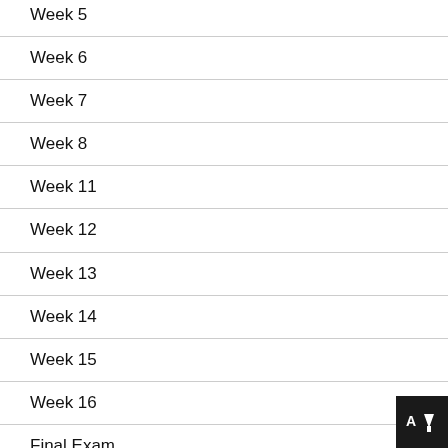Week 5
Week 6
Week 7
Week 8
Week 11
Week 12
Week 13
Week 14
Week 15
Week 16
Final Exam